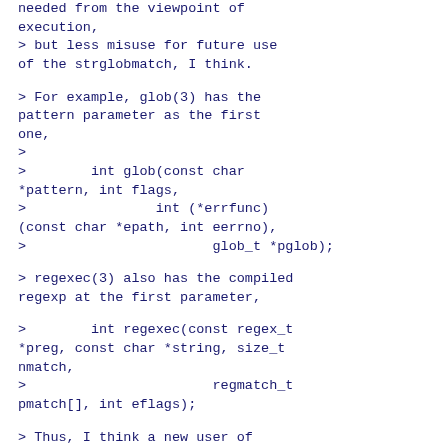needed from the viewpoint of execution,
> but less misuse for future use of the strglobmatch, I think.
> For example, glob(3) has the pattern parameter as the first one,
>
>        int glob(const char *pattern, int flags,
>                int (*errfunc)(const char *epath, int eerrno),
>                glob_t *pglob);
> regexec(3) also has the compiled regexp at the first parameter,
>        int regexec(const regex_t *preg, const char *string, size_t nmatch,
>                regmatch_t pmatch[], int eflags);
> Thus, I think a new user of strglobmatch() may guess that the first
> parameter should be the glob pattern.